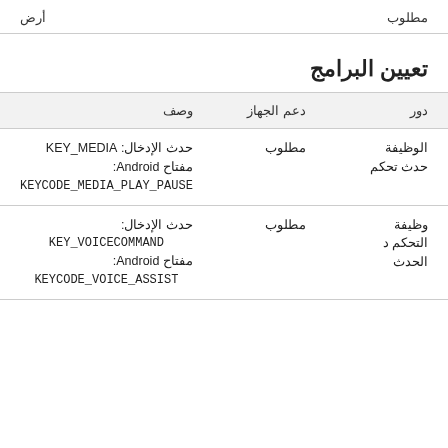أرض
مطلوب
تعيين البرامج
| دور | دعم الجهاز | وصف |
| --- | --- | --- |
| الوظيفة
حدث تحكم | مطلوب | حدث الإدخال: KEY_MEDIA
مفتاح Android:
KEYCODE_MEDIA_PLAY_PAUSE |
| وظيفة
التحكم د
الحدث | مطلوب | حدث الإدخال:
KEY_VOICECOMMAND
مفتاح Android:
KEYCODE_VOICE_ASSIST |